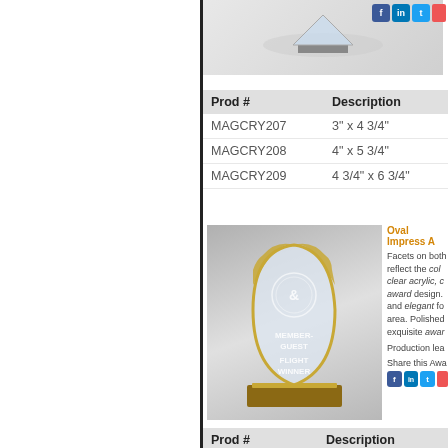[Figure (photo): Crystal award product image at top, partially visible]
| Prod # | Description |
| --- | --- |
| MAGCRY207 | 3" x 4 3/4" |
| MAGCRY208 | 4" x 5 3/4" |
| MAGCRY209 | 4 3/4" x 6 3/4" |
[Figure (photo): Oval Impress Award - acrylic teardrop/flame shaped award with gold accents and black base, engraved with MEMBER-GUEST FLIGHT WINNER]
Oval Impress A...
Facets on both... reflect the color... clear acrylic, c... award design. ...and elegant fo... area. Polished ...exquisite awar...
Production lea...
Share this Awa...
| Prod # | Description |
| --- | --- |
| JIMP601G | Gold 7" Tall |
| JIMP602G | Gold 8" Tall |